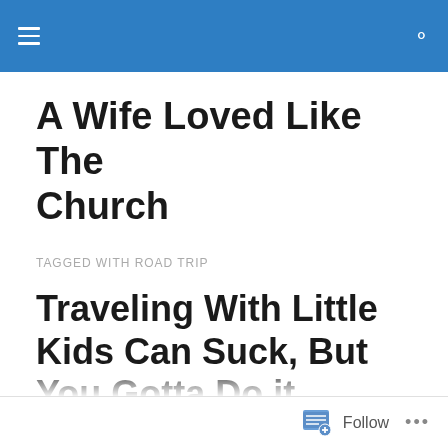A Wife Loved Like The Church
A Wife Loved Like The Church
TAGGED WITH ROAD TRIP
Traveling With Little Kids Can Suck, But You Gotta Do it Anyway
Jonathan and I both love to travel. We have been everywhere from San Francisco to Prague. We have slept
Follow ...